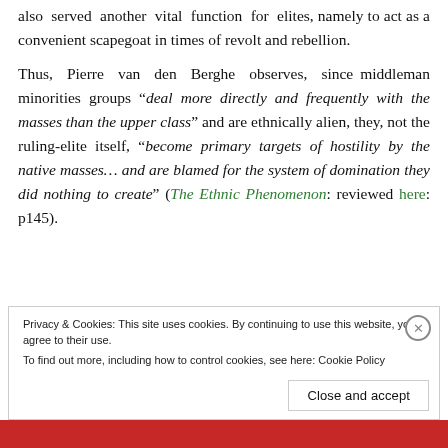also served another vital function for elites, namely to act as a convenient scapegoat in times of revolt and rebellion.
Thus, Pierre van den Berghe observes, since middleman minorities groups “deal more directly and frequently with the masses than the upper class” and are ethnically alien, they, not the ruling-elite itself, “become primary targets of hostility by the native masses… and are blamed for the system of domination they did nothing to create” (The Ethnic Phenomenon: reviewed here: p145).
Privacy & Cookies: This site uses cookies. By continuing to use this website, you agree to their use. To find out more, including how to control cookies, see here: Cookie Policy